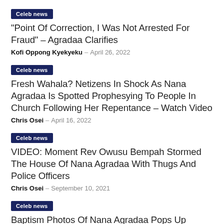Celeb news
“Point Of Correction, I Was Not Arrested For Fraud” – Agradaa Clarifies
Kofi Oppong Kyekyeku – April 26, 2022
Celeb news
Fresh Wahala? Netizens In Shock As Nana Agradaa Is Spotted Prophesying To People In Church Following Her Repentance – Watch Video
Chris Osei – April 16, 2022
Celeb news
VIDEO: Moment Rev Owusu Bempah Stormed The House Of Nana Agradaa With Thugs And Police Officers
Chris Osei – September 10, 2021
Celeb news
Baptism Photos Of Nana Agradaa Pops Up Online